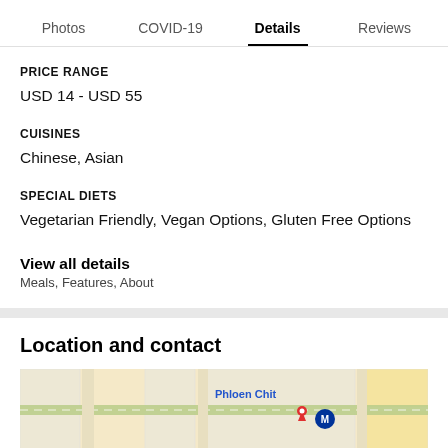Photos  COVID-19  Details  Reviews
PRICE RANGE
USD 14 - USD 55
CUISINES
Chinese, Asian
SPECIAL DIETS
Vegetarian Friendly, Vegan Options, Gluten Free Options
View all details
Meals, Features, About
Location and contact
[Figure (map): Map showing Phloen Chit area with streets and a metro station marker]